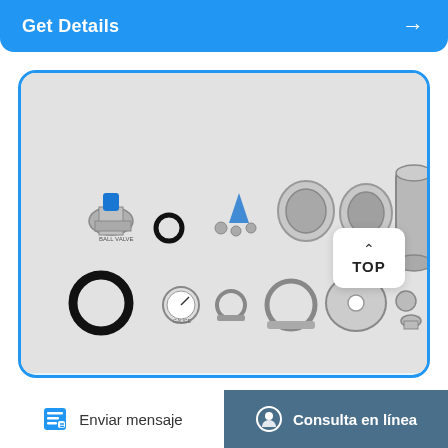Get Details
[Figure (photo): Flat lay photograph of stainless steel sanitary fittings and components including ball valve with blue handle, gaskets/O-rings, pressure gauge, clamps, ferrules of various sizes, end caps, and a large tri-clamp cylinder, arranged on a light grey background.]
TOP
Enviar mensaje
Consulta en línea